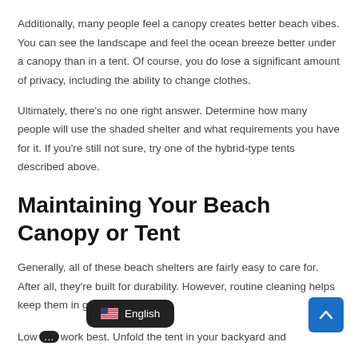Additionally, many people feel a canopy creates better beach vibes. You can see the landscape and feel the ocean breeze better under a canopy than in a tent. Of course, you do lose a significant amount of privacy, including the ability to change clothes.
Ultimately, there's no one right answer. Determine how many people will use the shaded shelter and what requirements you have for it. If you're still not sure, try one of the hybrid-type tents described above.
Maintaining Your Beach Canopy or Tent
Generally, all of these beach shelters are fairly easy to care for. After all, they're built for durability. However, routine cleaning helps keep them in great shape.
Low… …work best. Unfold the tent in your backyard and